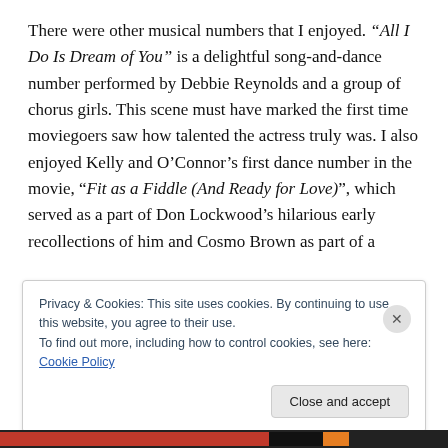There were other musical numbers that I enjoyed. “All I Do Is Dream of You” is a delightful song-and-dance number performed by Debbie Reynolds and a group of chorus girls. This scene must have marked the first time moviegoers saw how talented the actress truly was. I also enjoyed Kelly and O’Connor’s first dance number in the movie, “Fit as a Fiddle (And Ready for Love)”, which served as a part of Don Lockwood’s hilarious early recollections of him and Cosmo Brown as part of a
Privacy & Cookies: This site uses cookies. By continuing to use this website, you agree to their use.
To find out more, including how to control cookies, see here: Cookie Policy
Close and accept